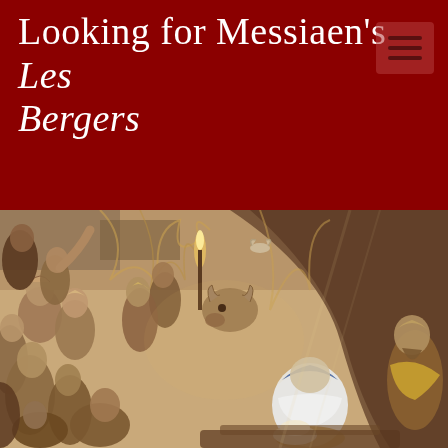Looking for Messiaen's Les Bergers
[Figure (illustration): A painting depicting the Nativity scene with shepherds and figures crowding around the manger, a woman in white and blue kneeling, animals including a cow visible, warm brown and golden tones, classical religious artwork style.]